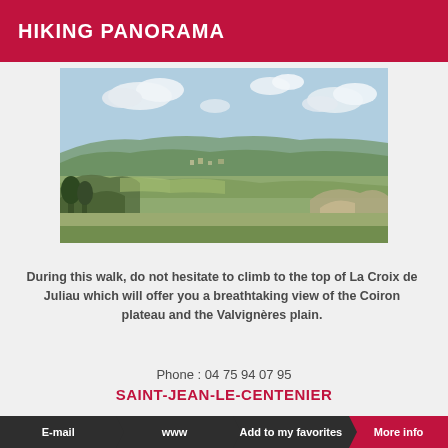HIKING PANORAMA
[Figure (photo): Panoramic landscape photo showing a wide valley with rolling green hills, trees in the foreground, a small town in the middle distance, and a blue sky with white clouds above.]
During this walk, do not hesitate to climb to the top of La Croix de Juliau which will offer you a breathtaking view of the Coiron plateau and the Valvignères plain.
Phone : 04 75 94 07 95
SAINT-JEAN-LE-CENTENIER
E-mail   www   Add to my favorites   More info